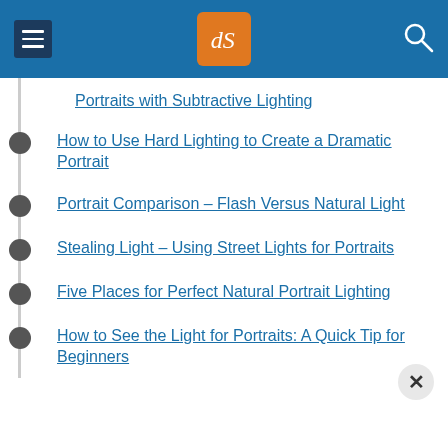dPS logo header with menu and search icons
Portraits with Subtractive Lighting
How to Use Hard Lighting to Create a Dramatic Portrait
Portrait Comparison – Flash Versus Natural Light
Stealing Light – Using Street Lights for Portraits
Five Places for Perfect Natural Portrait Lighting
How to See the Light for Portraits: A Quick Tip for Beginners